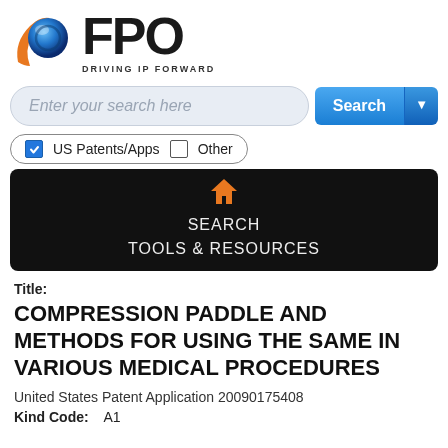[Figure (logo): FPO - Driving IP Forward logo with blue sphere and orange arc graphic, bold FPO text, tagline DRIVING IP FORWARD]
[Figure (screenshot): Search bar UI with placeholder text 'Enter your search here' and blue Search button with dropdown arrow]
[Figure (screenshot): Checkbox row: checked blue checkbox 'US Patents/Apps', unchecked checkbox 'Other']
[Figure (screenshot): Dark navigation bar with orange home icon, SEARCH link, TOOLS & RESOURCES link]
Title:
COMPRESSION PADDLE AND METHODS FOR USING THE SAME IN VARIOUS MEDICAL PROCEDURES
United States Patent Application 20090175408
Kind Code:    A1